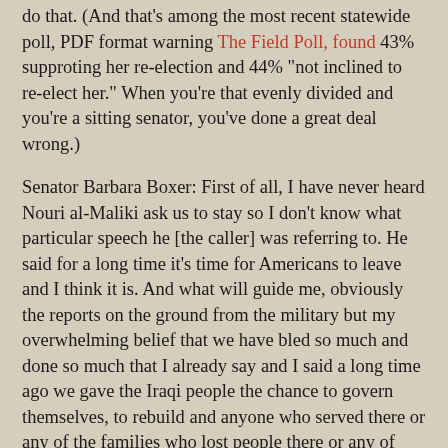do that. (And that's among the most recent statewide poll, PDF format warning The Field Poll, found 43% supproting her re-election and 44% "not inclined to re-elect her." When you're that evenly divided and you're a sitting senator, you've done a great deal wrong.)
Senator Barbara Boxer: First of all, I have never heard Nouri al-Maliki ask us to stay so I don't know what particular speech he [the caller] was referring to. He said for a long time it's time for Americans to leave and I think it is. And what will guide me, obviously the reports on the ground from the military but my overwhelming belief that we have bled so much and done so much that I already say and I said a long time ago we gave the Iraqi people the chance to govern themselves, to rebuild and anyone who served there or any of the families who lost people there or any of those who were wounded there should know they gave their all to give the Iraqis a chance and now they have to take that chance and run with it.
This is the best my state can do? This passes for liberal? Barbara Boxer lying, LYING, about the Iraq War. Did you